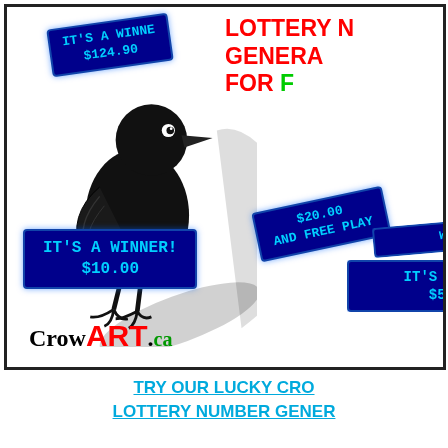[Figure (illustration): Promotional advertisement for CrowART.ca featuring a black crow bird photo with multiple blue LED lottery scanner display banners showing winning amounts ($124.90, $20.00 and Free Play, $10.00, $50.00), red text reading LOTTERY NUMBER GENERATOR FOR FREE, green text FREE, and the CrowART.ca logo.]
LOTTERY N
GENERA
FOR F
IT'S A WINNER! $124.90
$20.00
AND FREE PLAY
IT'S A WINNER!
$10.00
IT'S A WINNE
$50.00
CrowART.ca
TRY OUR LUCKY CRO
LOTTERY NUMBER GENER